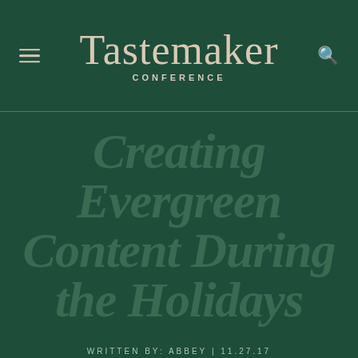Tastemaker Conference
Creating Evergreen Content During the Holidays
WRITTEN BY: ABBEY | 11.27.17
CONTENT CREATION, SOCIAL MEDIA + MARKETING